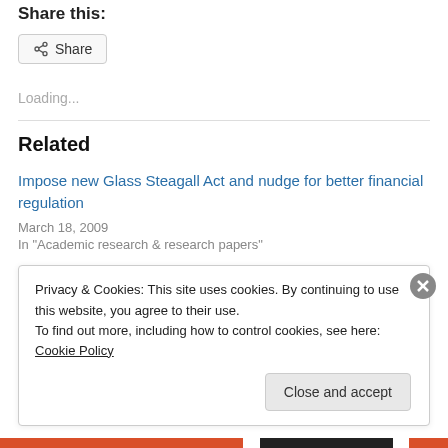Share this:
Share
Loading...
Related
Impose new Glass Steagall Act and nudge for better financial regulation
March 18, 2009
In "Academic research & research papers"
Privacy & Cookies: This site uses cookies. By continuing to use this website, you agree to their use.
To find out more, including how to control cookies, see here: Cookie Policy
Close and accept